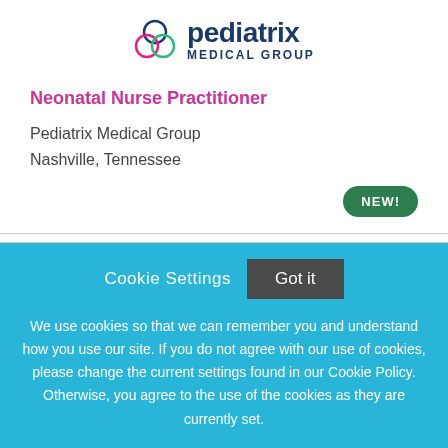[Figure (logo): Pediatrix Medical Group logo with three overlapping circles (blue, green, pink) and bold text 'pediatrix MEDICAL GROUP' in dark blue]
Neonatal Nurse Practitioner
Pediatrix Medical Group
Nashville, Tennessee
NEW!
Cookie Settings   Got it
We use cookies so that we can remember you and understand how you use our site. If you do not agree with our use of cookies, please change the current settings found in our Cookie Policy. Otherwise, you agree to the use of the cookies as they are currently set.